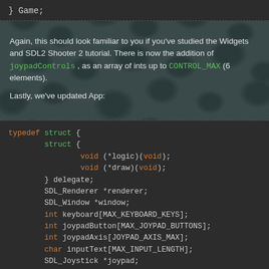} Game;
Again, this should look familiar to you if you've studied the Widgets and SDL2 Shooter 2 tutorial. There is now the addition of joypadControls , as an array of ints up to CONTROL_MAX (6 elements).
Lastly, we've updated App:
typedef struct {
        struct {
                void (*logic)(void);
                void (*draw)(void);
        } delegate;
        SDL_Renderer *renderer;
        SDL_Window *window;
        int keyboard[MAX_KEYBOARD_KEYS];
        int joypadButton[MAX_JOYPAD_BUTTONS];
        int joypadAxis[JOYPAD_AXIS_MAX];
        char inputText[MAX_INPUT_LENGTH];
        SDL_Joystick *joypad;
        int lastKeyPressed;
        int lastButtonPressed;